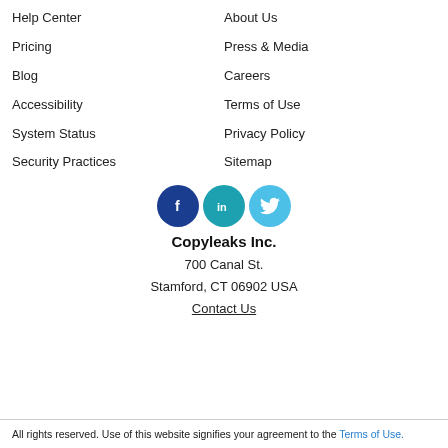Help Center
About Us
Pricing
Press & Media
Blog
Careers
Accessibility
Terms of Use
System Status
Privacy Policy
Security Practices
Sitemap
[Figure (illustration): Three circular social media icons: Facebook (dark blue), LinkedIn (teal), Twitter (light blue)]
Copyleaks Inc.
700 Canal St.
Stamford, CT 06902 USA
Contact Us
All rights reserved. Use of this website signifies your agreement to the Terms of Use.